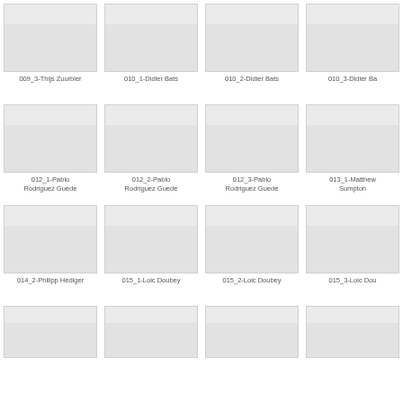[Figure (other): Thumbnail image placeholder for 009_3-Thijs Zuurbier]
009_3-Thijs Zuurbier
[Figure (other): Thumbnail image placeholder for 010_1-Didier Bats]
010_1-Didier Bats
[Figure (other): Thumbnail image placeholder for 010_2-Didier Bats]
010_2-Didier Bats
[Figure (other): Thumbnail image placeholder for 010_3-Didier Bats (partially visible)]
010_3-Didier Ba
[Figure (other): Thumbnail image placeholder for 012_1-Pablo Rodriguez Guede]
012_1-Pablo Rodriguez Guede
[Figure (other): Thumbnail image placeholder for 012_2-Pablo Rodriguez Guede]
012_2-Pablo Rodriguez Guede
[Figure (other): Thumbnail image placeholder for 012_3-Pablo Rodriguez Guede]
012_3-Pablo Rodriguez Guede
[Figure (other): Thumbnail image placeholder for 013_1-Matthew Sumpton (partially visible)]
013_1-Matthew Sumpton
[Figure (other): Thumbnail image placeholder for 014_2-Philipp Hediger]
014_2-Philipp Hediger
[Figure (other): Thumbnail image placeholder for 015_1-Loic Doubey]
015_1-Loic Doubey
[Figure (other): Thumbnail image placeholder for 015_2-Loic Doubey]
015_2-Loic Doubey
[Figure (other): Thumbnail image placeholder for 015_3-Loic Doubey (partially visible)]
015_3-Loic Dou
[Figure (other): Thumbnail image placeholder row 4 col 1 (partial)]
[Figure (other): Thumbnail image placeholder row 4 col 2 (partial)]
[Figure (other): Thumbnail image placeholder row 4 col 3 (partial)]
[Figure (other): Thumbnail image placeholder row 4 col 4 (partial)]